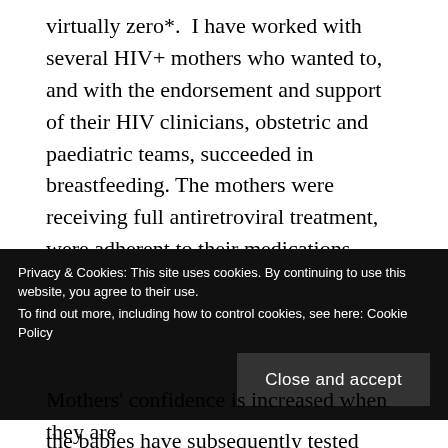virtually zero*. I have worked with several HIV+ mothers who wanted to, and with the endorsement and support of their HIV clinicians, obstetric and paediatric teams, succeeded in breastfeeding. The mothers were receiving full antiretroviral treatment, were adherent to their medications, breastfed exclusively for periods ranging from 9 to 26 weeks, (and some of the babies weaned from the breast a little later than that). The mothers were thrilled with their achievement and all the babies have subsequently tested negative for HIV. It is commonly assumed that the only option for HIV+
Privacy & Cookies: This site uses cookies. By continuing to use this website, you agree to their use.
To find out more, including how to control cookies, see here: Cookie Policy
Close and accept
Mothers' confidence is increased when they are